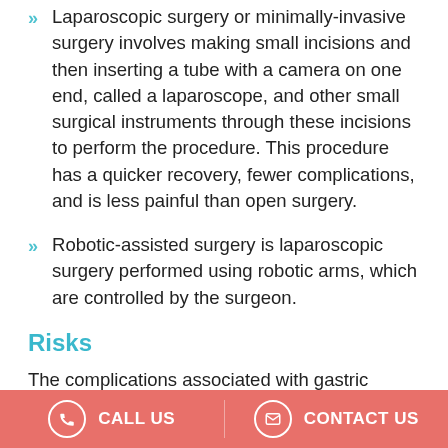Laparoscopic surgery or minimally-invasive surgery involves making small incisions and then inserting a tube with a camera on one end, called a laparoscope, and other small surgical instruments through these incisions to perform the procedure. This procedure has a quicker recovery, fewer complications, and is less painful than open surgery.
Robotic-assisted surgery is laparoscopic surgery performed using robotic arms, which are controlled by the surgeon.
Risks
The complications associated with gastric bypass surgery include:
Infection
Bleeding
Blood clot formation
CALL US   CONTACT US